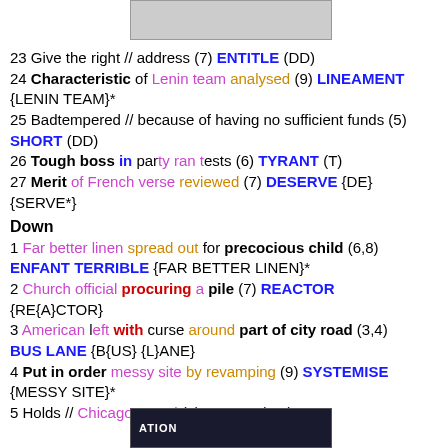[Figure (photo): Partial image at top of page, appears to show an animal or nature scene]
23 Give the right // address (7) ENTITLE (DD)
24 Characteristic of Lenin team analysed (9) LINEAMENT {LENIN TEAM}*
25 Badtempered // because of having no sufficient funds (5) SHORT (DD)
26 Tough boss in party ran tests (6) TYRANT (T)
27 Merit of French verse reviewed (7) DESERVE {DE}{SERVE*}
Down
1 Far better linen spread out for precocious child (6,8) ENFANT TERRIBLE {FAR BETTER LINEN}*
2 Church official procuring a pile (7) REACTOR {RE{A}CTOR}
3 American left with curse around part of city road (3,4) BUS LANE {B{US} {L}ANE}
4 Put in order messy site by revamping (9) SYSTEMISE {MESSY SITE}*
5 Holds // Chicago squad (5) BEARS (DD)
[Figure (photo): Partial image at bottom of page showing dark background with text 'ATION']